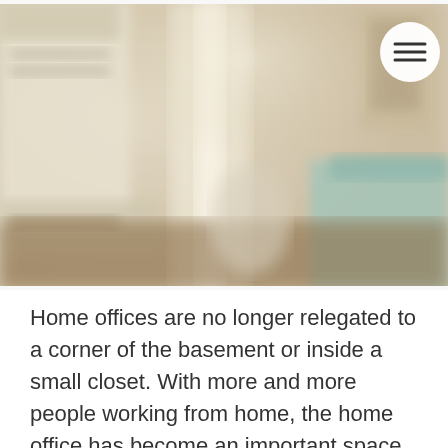[Figure (photo): Blurred interior photo of a home office/living space with shelving, a desk area, wooden floors, and a teal sofa. A hamburger menu icon (three horizontal lines) in a white circle is visible in the top-right corner of the image.]
Home offices are no longer relegated to a corner of the basement or inside a small closet. With more and more people working from home, the home office has become an important space in the largest home or the smallest apartment. Technology has given us a certain amount of freedom when it